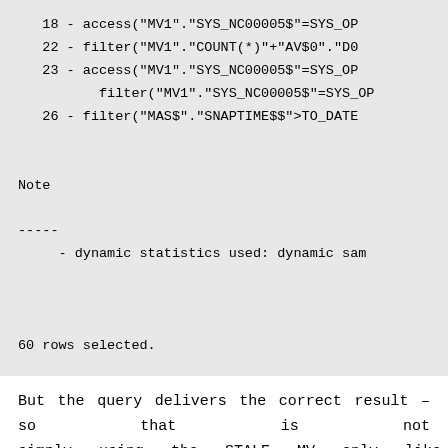18 - access("MV1"."SYS_NC00005$"=SYS_OP
22 - filter("MV1"."COUNT(*)"+("AV$0"."D0
23 - access("MV1"."SYS_NC00005$"=SYS_OP
       filter("MV1"."SYS_NC00005$"=SYS_OP
26 - filter("MAS$"."SNAPTIME$$">TO_DATE

Note

-----

     - dynamic statistics used: dynamic sam


60 rows selected.
But the query delivers the correct result – so that is not simply using the STALE MV only like QUERY_REWRITE_INTEGRITY=STALE_TOLERATED